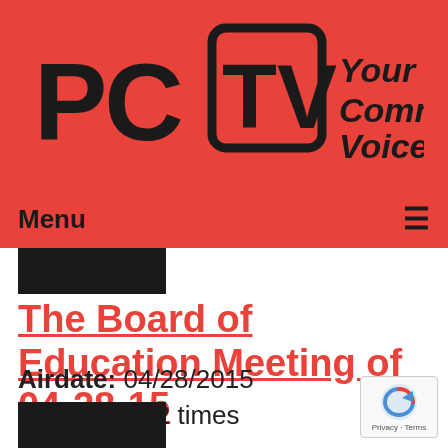[Figure (logo): PCTV logo with stylized PCTV text in dark color on red background, with tagline 'Your Community Voice' in italic bold]
Menu ≡
[Figure (other): Black redacted rectangle at top of content area]
The Board of Education Meeting of 04-28-15
Airdate: 04/28/2015
Watched: 62 times
[Figure (other): Black redacted rectangle at bottom of content area]